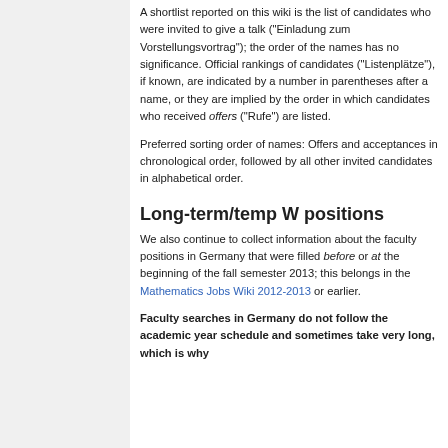A shortlist reported on this wiki is the list of candidates who were invited to give a talk ("Einladung zum Vorstellungsvortrag"); the order of the names has no significance. Official rankings of candidates ("Listenplätze"), if known, are indicated by a number in parentheses after a name, or they are implied by the order in which candidates who received offers ("Rufe") are listed.
Preferred sorting order of names: Offers and acceptances in chronological order, followed by all other invited candidates in alphabetical order.
Long-term/temp W positions
We also continue to collect information about the faculty positions in Germany that were filled before or at the beginning of the fall semester 2013; this belongs in the Mathematics Jobs Wiki 2012-2013 or earlier.
Faculty searches in Germany do not follow the academic year schedule and sometimes take very long, which is why